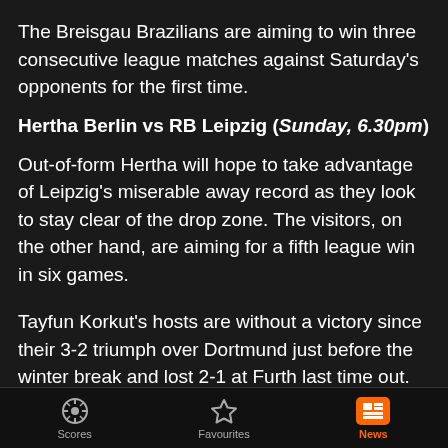The Breisgau Brazilians are aiming to win three consecutive league matches against Saturday's opponents for the first time.
Hertha Berlin vs RB Leipzig (Sunday, 6.30pm)
Out-of-form Hertha will hope to take advantage of Leipzig's miserable away record as they look to stay clear of the drop zone. The visitors, on the other hand, are aiming for a fifth league win in six games.
Tayfun Korkut's hosts are without a victory since their 3-2 triumph over Dortmund just before the winter break and lost 2-1 at Furth last time out. Should their winless run grow to seven games in all competitions, it will represent their worst
Scores  Favourites  News